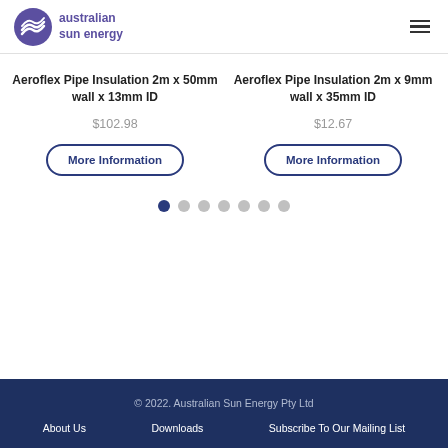[Figure (logo): Australian Sun Energy logo with purple wave icon and text]
Aeroflex Pipe Insulation 2m x 50mm wall x 13mm ID
$102.98
More Information
Aeroflex Pipe Insulation 2m x 9mm wall x 35mm ID
$12.67
More Information
© 2022. Australian Sun Energy Pty Ltd
About Us   Downloads   Subscribe To Our Mailing List